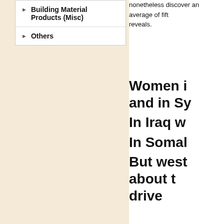Building Material Products (Misc)
Others
nonetheless discover an average of fift reveals.
Women i and in Sy In Iraq w In Somal But west about t drive